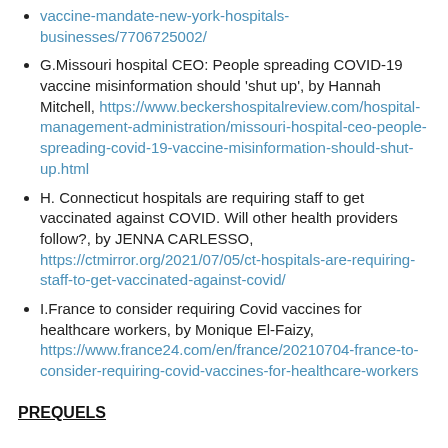vaccine-mandate-new-york-hospitals-businesses/7706725002/
G.Missouri hospital CEO: People spreading COVID-19 vaccine misinformation should 'shut up', by Hannah Mitchell, https://www.beckershospitalreview.com/hospital-management-administration/missouri-hospital-ceo-people-spreading-covid-19-vaccine-misinformation-should-shut-up.html
H. Connecticut hospitals are requiring staff to get vaccinated against COVID. Will other health providers follow?, by JENNA CARLESSO, https://ctmirror.org/2021/07/05/ct-hospitals-are-requiring-staff-to-get-vaccinated-against-covid/
I.France to consider requiring Covid vaccines for healthcare workers, by Monique El-Faizy, https://www.france24.com/en/france/20210704-france-to-consider-requiring-covid-vaccines-for-healthcare-workers
PREQUELS